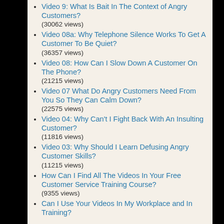Video 9: What Is Bait In The Context of Angry Customers?
(30062 views)
Video 08a: Why Telephone Silence Works To Get A Customer To Be Quiet?
(36357 views)
Video 08: How Can I Slow Down A Customer On The Phone?
(21215 views)
Video 07 What Do Angry Customers Need From You So They Can Calm Down?
(22575 views)
Video 04: Why Can't I Fight Back With An Insulting Customer?
(11816 views)
Video 03: Why Should I Learn Defusing Angry Customer Skills?
(11215 views)
How Can I Find All The Videos In Your Free Customer Service Training Course?
(9355 views)
Can I Use Your Videos In My Workplace and In Training?